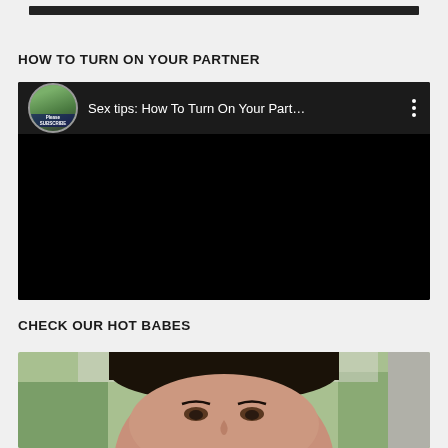[Figure (screenshot): Top bar area with dark header strip on light gray background]
HOW TO TURN ON YOUR PARTNER
[Figure (screenshot): Embedded video player with dark background. Top bar shows a circular avatar thumbnail with 'Please SUBSCRIBE' text, video title 'Sex tips: How To Turn On Your Part...' in white text on dark background, and a three-dot menu icon. Rest of player is black.]
CHECK OUR HOT BABES
[Figure (photo): Close-up photo of a woman with dark hair pulled back, looking at camera, outdoors with green trees and a gray wall visible in background.]